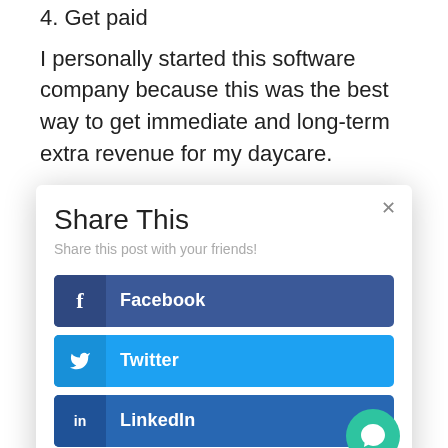4. Get paid
I personally started this software company because this was the best way to get immediate and long-term extra revenue for my daycare.
When it comes to numbers, I earned over
[Figure (screenshot): Share This modal dialog with close button (×), subtitle 'Share this post with your friends!', and three share buttons: Facebook (dark blue), Twitter (light blue), LinkedIn (medium blue). A green chat bubble icon appears in the bottom-right corner.]